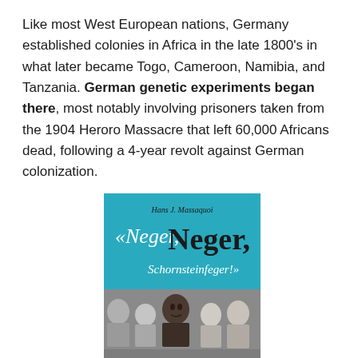Like most West European nations, Germany established colonies in Africa in the late 1800's in what later became Togo, Cameroon, Namibia, and Tanzania. German genetic experiments began there, most notably involving prisoners taken from the 1904 Heroro Massacre that left 60,000 Africans dead, following a 4-year revolt against German colonization.
[Figure (photo): Book cover of 'Neger, Neger, Schornsteinfeger!' by Hans J. Massaquoi. The top portion has a teal/blue background with the author's name and title in stylized text. The bottom portion shows a black-and-white photograph of a group of children, including a Black child in the center surrounded by white children.]